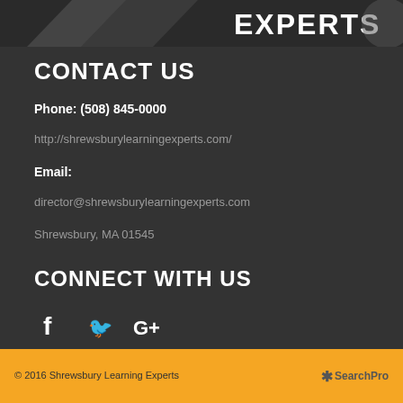[Figure (logo): Partial logo showing 'EXPERTS' text with decorative elements on dark background at top of page]
CONTACT US
Phone: (508) 845-0000
http://shrewsburylearningexperts.com/
Email:
director@shrewsburylearningexperts.com
Shrewsbury, MA 01545
CONNECT WITH US
[Figure (illustration): Social media icons: Facebook (f), Twitter (bird), Google+ (G+)]
© 2016 Shrewsbury Learning Experts     ✱SearchPro